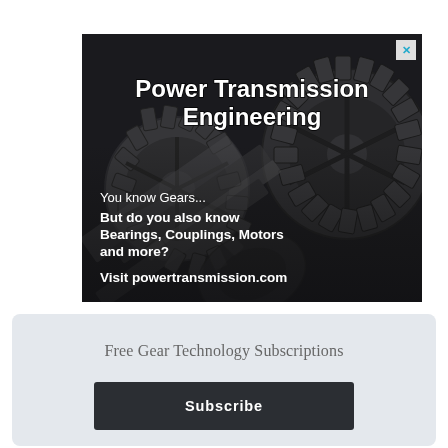[Figure (illustration): Advertisement banner for Power Transmission Engineering magazine featuring close-up of metal gears with white bold text overlay reading 'Power Transmission Engineering', 'You know Gears...', 'But do you also know Bearings, Couplings, Motors and more?', 'Visit powertransmission.com'. Has an X close button in the top-right corner.]
Free Gear Technology Subscriptions
Subscribe